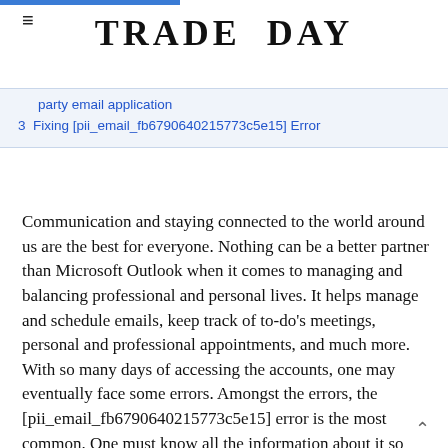TRADE DAY
party email application
3  Fixing [pii_email_fb6790640215773c5e15] Error
Communication and staying connected to the world around us are the best for everyone. Nothing can be a better partner than Microsoft Outlook when it comes to managing and balancing professional and personal lives. It helps manage and schedule emails, keep track of to-do's meetings, personal and professional appointments, and much more. With so many days of accessing the accounts, one may eventually face some errors. Amongst the errors, the [pii_email_fb6790640215773c5e15] error is the most common. One must know all the information about it so that it is smooth to handle.